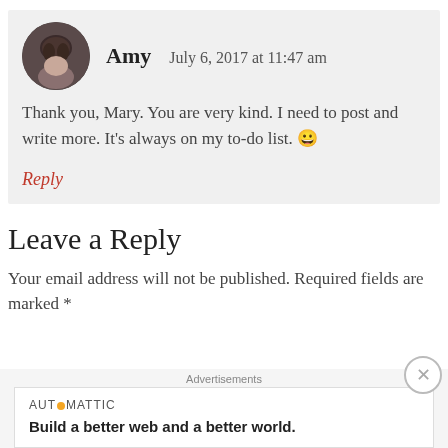[Figure (photo): Avatar photo of a woman with dark hair]
Amy   July 6, 2017 at 11:47 am
Thank you, Mary. You are very kind. I need to post and write more. It's always on my to-do list. 😀
Reply
Leave a Reply
Your email address will not be published. Required fields are marked *
Advertisements
AUTOMATTIC
Build a better web and a better world.